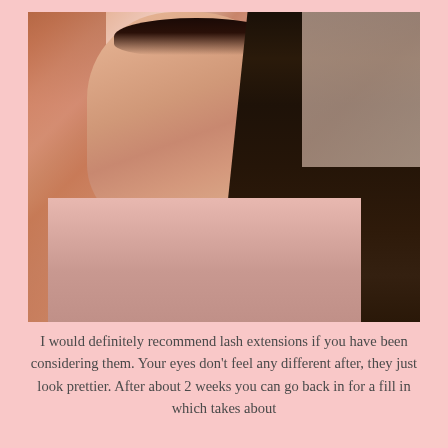[Figure (photo): Close-up portrait photo of a young woman with long dark brown/black hair and prominent eyelash extensions, wearing a pink top. The background is blurred in warm tones. The photo is taken from a slight angle showing her face in profile-ish view.]
I would definitely recommend lash extensions if you have been considering them. Your eyes don't feel any different after, they just look prettier. After about 2 weeks you can go back in for a fill in which takes about